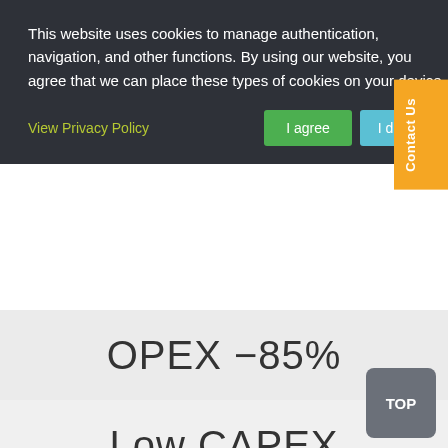This website uses cookies to manage authentication, navigation, and other functions. By using our website, you agree that we can place these types of cookies on your device.
View Privacy Policy
I agree
I decline
Contact Us
OPEX −85%
Low CAPEX
Low initial cost and dramatically lower ongoing energy & operations costs
TOP